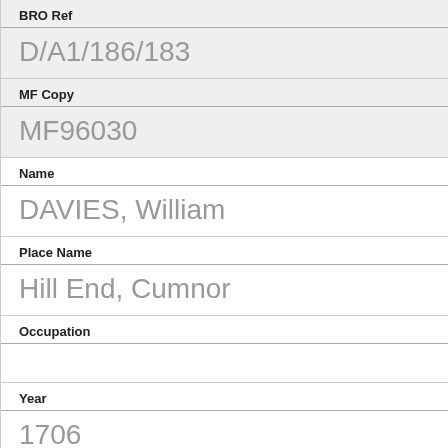BRO Ref
D/A1/186/183
MF Copy
MF96030
Name
DAVIES, William
Place Name
Hill End, Cumnor
Occupation
Year
1706
BRO Ref
D/A1/239/34